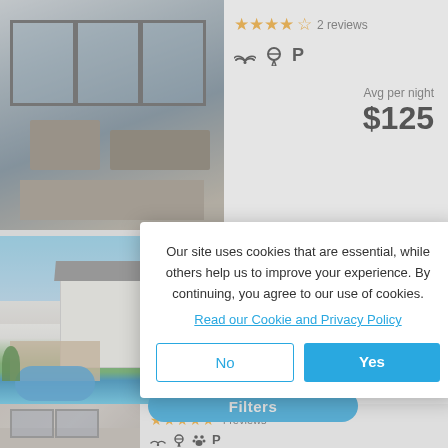[Figure (photo): Exterior/interior photo of a vacation rental showing glass sliding doors and outdoor furniture]
★★★★☆ 2 reviews
WiFi, BBQ, Parking amenity icons
Avg per night
$125
[Figure (photo): Exterior photo of Chocolate Seahorse property with blue sky and clouds, white building and swimming pool]
Chocolate Seahorse
Paternoster Self-catering
Sleeps 6
★★★★★ 4 reviews
Our site uses cookies that are essential, while others help us to improve your experience. By continuing, you agree to our use of cookies.
Read our Cookie and Privacy Policy
No
Yes
Filters
[Figure (photo): Partial photo of another vacation rental listing at bottom of page]
★★★★★ 4 reviews
WiFi, BBQ, Pet-friendly, Parking amenity icons